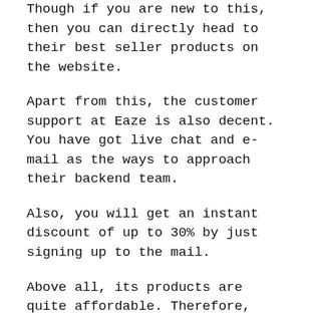Though if you are new to this, then you can directly head to their best seller products on the website.
Apart from this, the customer support at Eaze is also decent. You have got live chat and e-mail as the ways to approach their backend team.
Also, you will get an instant discount of up to 30% by just signing up to the mail.
Above all, its products are quite affordable. Therefore, novice weed enthusiasts with a limited budget can also get their hands-on quality products at a low price from Eaze.
Therefore, you get an overall great shopping experience here.